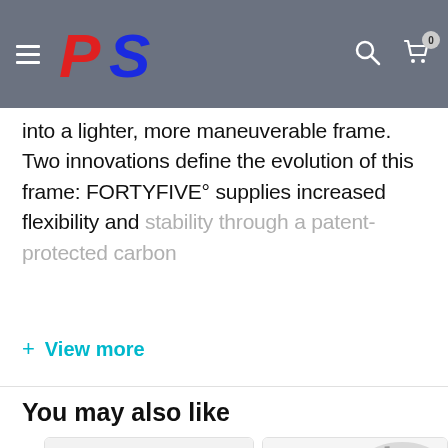PS Sport logo, search and cart navigation header
into a lighter, more maneuverable frame. Two innovations define the evolution of this frame: FORTYFIVE° supplies increased flexibility and stability through a patent-protected carbon
+ View more
You may also like
[Figure (photo): Two product images — a tennis/squash racket head on the left and a racket on the right — shown as product cards below 'You may also like' section]
[Figure (photo): Right product card showing a racket partially visible]